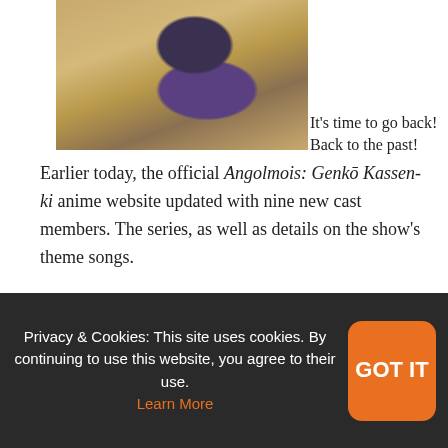[Figure (illustration): Historical illustration of a figure in traditional Japanese/East Asian garb, depicted in motion against a gold/tan background]
It's time to go back! Back to the past!
Earlier today, the official Angolmois: Genkō Kassen-ki anime website updated with nine new cast members. The series, as well as details on the show's theme songs.
Privacy & Cookies: This site uses cookies. By continuing to use this website, you agree to their use. Learn More